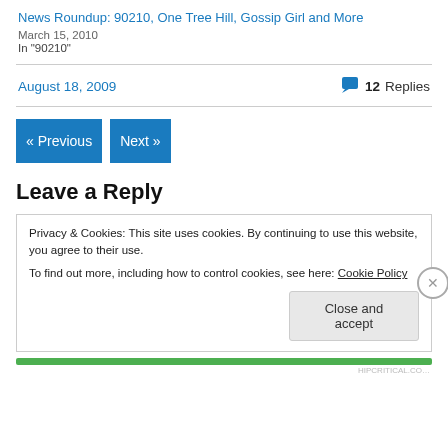News Roundup: 90210, One Tree Hill, Gossip Girl and More
March 15, 2010
In "90210"
August 18, 2009
💬 12 Replies
« Previous
Next »
Leave a Reply
Privacy & Cookies: This site uses cookies. By continuing to use this website, you agree to their use.
To find out more, including how to control cookies, see here: Cookie Policy
Close and accept